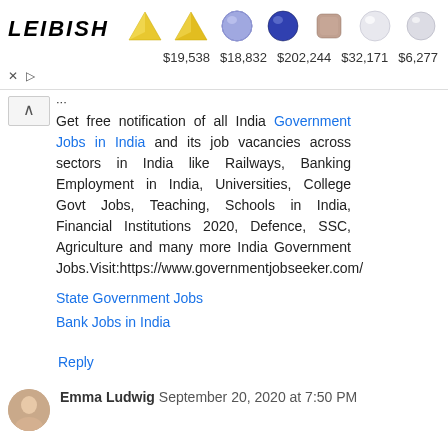[Figure (screenshot): Leibish jewelry advertisement banner with gem images and prices: $19,538, $18,832, $202,244, $32,171, $6,277]
Get free notification of all India Government Jobs in India and its job vacancies across sectors in India like Railways, Banking Employment in India, Universities, College Govt Jobs, Teaching, Schools in India, Financial Institutions 2020, Defence, SSC, Agriculture and many more India Government Jobs.Visit:https://www.governmentjobseeker.com/
State Government Jobs
Bank Jobs in India
Reply
Emma Ludwig September 20, 2020 at 7:50 PM